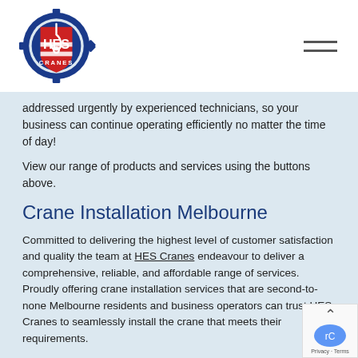[Figure (logo): HES Cranes logo — blue gear with crane hook and red/white striped shield, text HES CRANES]
addressed urgently by experienced technicians, so your business can continue operating efficiently no matter the time of day!
View our range of products and services using the buttons above.
Crane Installation Melbourne
Committed to delivering the highest level of customer satisfaction and quality the team at HES Cranes endeavour to deliver a comprehensive, reliable, and affordable range of services. Proudly offering crane installation services that are second-to-none Melbourne residents and business operators can trust HES Cranes to seamlessly install the crane that meets their requirements.
Our experienced team can handle any type of crane installation from light crane systems to Jib Cranes and more. This make…